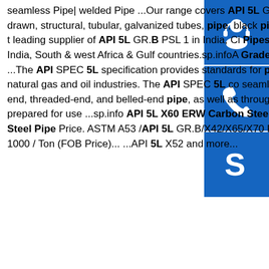seamless Pipe| welded Pipe ...Our range covers API 5L GR.B PSL 1, mild steel, stainless steel, cold drawn, structural, tubular, galvanized tubes, pipe, black pi... welded tube and pipe. Widely regarded as being the leading supplier of API 5L GR.B PSL 1 in India, Ci... Pipes is the preferred choice for API 5L GR.B PSL... India, South & west Africa & Gulf countries.sp.infoA... Grades: X52 X56 X60 X65 X70 Welded & Seamle... ...The API SPEC 5L specification provides standards for pipe suitable for use in conveying gas, water, and natural gas and oil industries. The API SPEC 5L co... seamless and welded steel line pipe. It includes plain-end, threaded-end, and belled-end pipe, as well as through-the-flowline (TFL) pipe, and pipe with ends prepared for use ...sp.info API 5L X60 ERW Carbon Steel Pipe X52 ERW PipeAPI 5L X60 ERW Carbon Steel Pipe Price. ASTM A53 /API 5L GR.B/X42/X65/X70 PSL1 PSL 2 carbon steel welded pipe US $600-1000 / Ton (FOB Price)... ...API 5L X52 and more...
[Figure (illustration): Blue square icon with white headset/customer support symbol]
[Figure (illustration): Blue square icon with white phone/call symbol]
[Figure (illustration): Blue square icon with white Skype logo symbol]